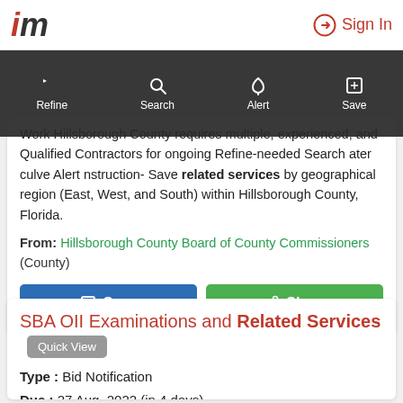iM — Sign In
Work Hillsborough County requires multiple, experienced, and Qualified Contractors for ongoing Refine-needed Search ater culve Alert nstruction- Save related services by geographical region (East, West, and South) within Hillsborough County, Florida.
From: Hillsborough County Board of County Commissioners (County)
Save | Share
SBA OII Examinations and Related Services
Type : Bid Notification
Due : 27 Aug, 2022 (in 4 days)
Posted : 9 days ago
Started : 12 Aug, 2022 (9 days ago)